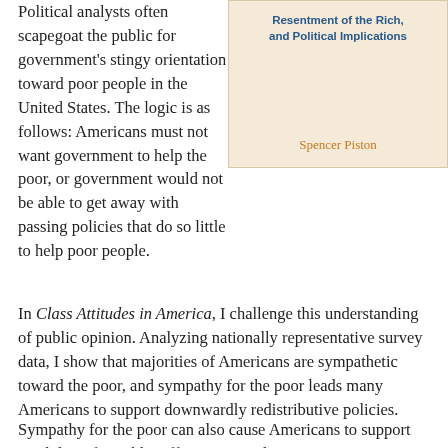[Figure (other): Book cover for 'Class Attitudes in America: Sympathy, Resentment of the Rich, and Political Implications' by Spencer Piston, with a beige/tan background and blue and orange text.]
Political analysts often scapegoat the public for government's stingy orientation toward poor people in the United States. The logic is as follows: Americans must not want government to help the poor, or government would not be able to get away with passing policies that do so little to help poor people.
In Class Attitudes in America, I challenge this understanding of public opinion. Analyzing nationally representative survey data, I show that majorities of Americans are sympathetic toward the poor, and sympathy for the poor leads many Americans to support downwardly redistributive policies.
Sympathy for the poor can also cause Americans to support candidates for public office perceived